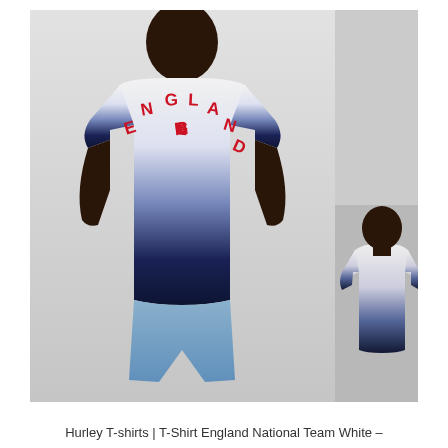[Figure (photo): Product photo of a Hurley England National Team T-shirt. Main image shows a man from behind wearing a white-to-navy ombre/dip-dye t-shirt with 'ENGLAND' printed in red arched text on the back, paired with light blue jeans. A smaller thumbnail on the bottom right shows the front view of the same shirt on a different model.]
Hurley T-shirts | T-Shirt England National Team White –